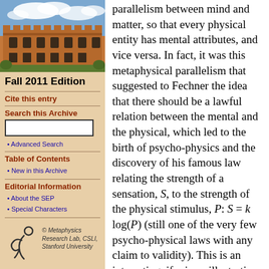[Figure (photo): Photograph of a historic university building (sandstone architecture) with a blue sky and clouds]
Fall 2011 Edition
Cite this entry
Search this Archive
Advanced Search
Table of Contents
New in this Archive
Editorial Information
About the SEP
Special Characters
[Figure (logo): Metaphysics Research Lab, CSLI, Stanford University logo with stylized figure]
parallelism between mind and matter, so that every physical entity has mental attributes, and vice versa. In fact, it was this metaphysical parallelism that suggested to Fechner the idea that there should be a lawful relation between the mental and the physical, which led to the birth of psycho-physics and the discovery of his famous law relating the strength of a sensation, S, to the strength of the physical stimulus, P: S = k log(P) (still one of the very few psycho-physical laws with any claim to validity). This is an interesting, if minor, illustration of the general point that scientific advance is often